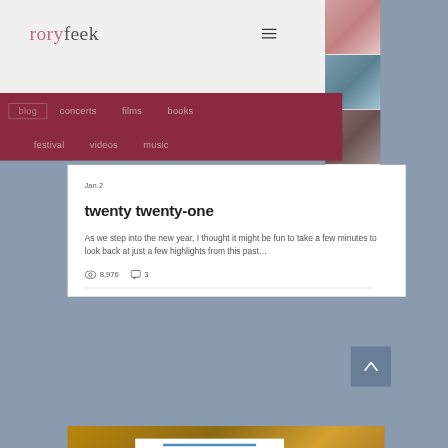roryfeek
[Figure (screenshot): Navigation menu with hamburger icon]
[Figure (photo): Three stacked photos on right side strip]
blog  concerts  films  books  festival  videos  music
Jan 2
twenty twenty-one
As we step into the new year, I thought it might be fun to take a few minutes to look back at just a few highlights from this past...
8,976  3
[Figure (photo): Bottom teaser image showing PLAIN VALUES book/card on wooden background]